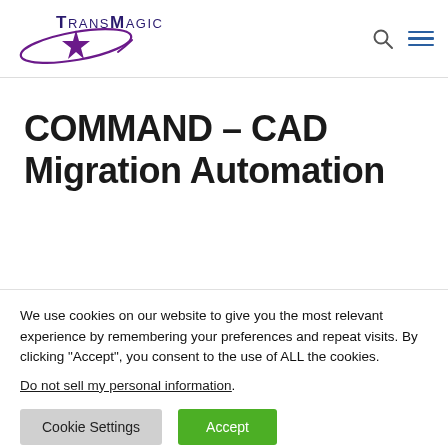[Figure (logo): TransMagic logo with purple star and ellipse, text reads TRANSMAGIC]
COMMAND – CAD Migration Automation
We use cookies on our website to give you the most relevant experience by remembering your preferences and repeat visits. By clicking “Accept”, you consent to the use of ALL the cookies.
Do not sell my personal information.
Cookie Settings   Accept